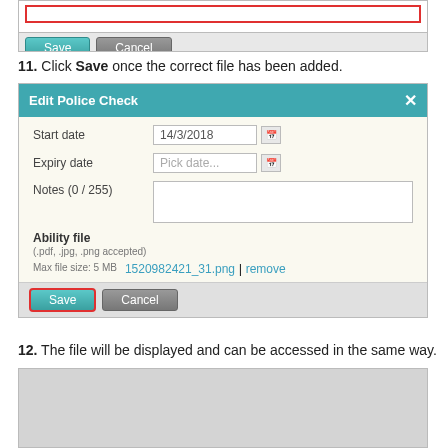[Figure (screenshot): Partial UI screenshot showing a red-outlined input field and Save/Cancel buttons]
11. Click Save once the correct file has been added.
[Figure (screenshot): Edit Police Check dialog with Start date 14/3/2018, Expiry date (Pick date), Notes field, Ability file showing 1520982421_31.png | remove, and Save (highlighted with red outline) / Cancel buttons]
12. The file will be displayed and can be accessed in the same way.
[Figure (screenshot): Partial screenshot of a gray panel (bottom of page, content cut off)]